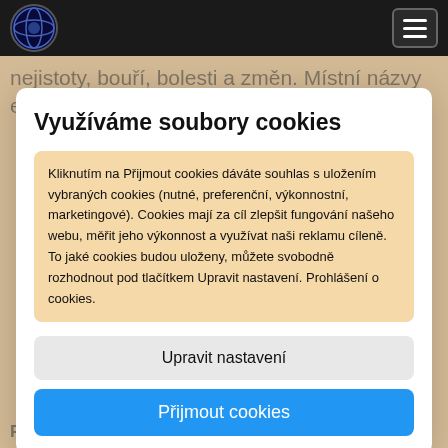[Figure (logo): Circular logo with dark blue/purple globe graphic on black background]
[Figure (other): Hamburger menu button (three horizontal lines) on dark background]
nejistoty, bouří, bolesti a změn. Místní názvy evokují krásnou
Využíváme soubory cookies
Kliknutím na Přijmout cookies dáváte souhlas s uložením vybraných cookies (nutné, preferenční, výkonnostní, marketingové). Cookies mají za cíl zlepšit fungování našeho webu, měřit jeho výkonnost a využívat naši reklamu cíleně. To jaké cookies budou uloženy, můžete svobodně rozhodnout pod tlačítkem Upravit nastavení. Prohlášení o cookies.
Upravit nastavení
Přijmout cookies
Record Label: Onomatopoeia Records